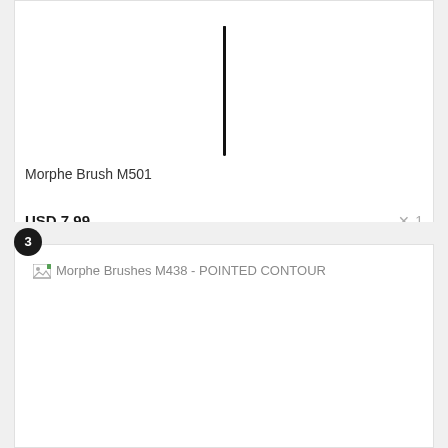[Figure (photo): Partial image of a makeup brush handle shown as a thin vertical black line against white background]
Morphe Brush M501
USD 7.99
× 1
3
[Figure (photo): Broken image placeholder for Morphe Brushes M438 - POINTED CONTOUR]